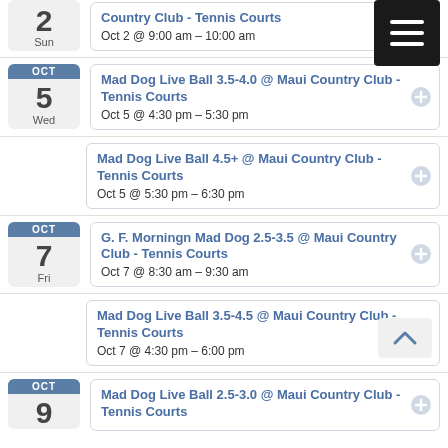2 Sun — Country Club - Tennis Courts — Oct 2 @ 9:00 am – 10:00 am
Oct 5 Wed — Mad Dog Live Ball 3.5-4.0 @ Maui Country Club - Tennis Courts — Oct 5 @ 4:30 pm – 5:30 pm
Mad Dog Live Ball 4.5+ @ Maui Country Club - Tennis Courts — Oct 5 @ 5:30 pm – 6:30 pm
Oct 7 Fri — G. F. Morningn Mad Dog 2.5-3.5 @ Maui Country Club - Tennis Courts — Oct 7 @ 8:30 am – 9:30 am
Mad Dog Live Ball 3.5-4.5 @ Maui Country Club - Tennis Courts — Oct 7 @ 4:30 pm – 6:00 pm
Oct 9 — Mad Dog Live Ball 2.5-3.0 @ Maui Country Club - Tennis Courts